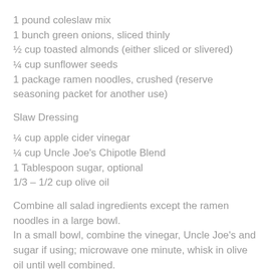1 pound coleslaw mix
1 bunch green onions, sliced thinly
½ cup toasted almonds (either sliced or slivered)
¼ cup sunflower seeds
1 package ramen noodles, crushed (reserve seasoning packet for another use)
Slaw Dressing
¼ cup apple cider vinegar
¼ cup Uncle Joe's Chipotle Blend
1 Tablespoon sugar, optional
1/3 – 1/2 cup olive oil
Combine all salad ingredients except the ramen noodles in a large bowl.
In a small bowl, combine the vinegar, Uncle Joe's and sugar if using; microwave one minute, whisk in olive oil until well combined.
Toss dressing over slaw mixture & toss well to combine.
Refrigerate for 20 – 30 minutes before serving so flavors can